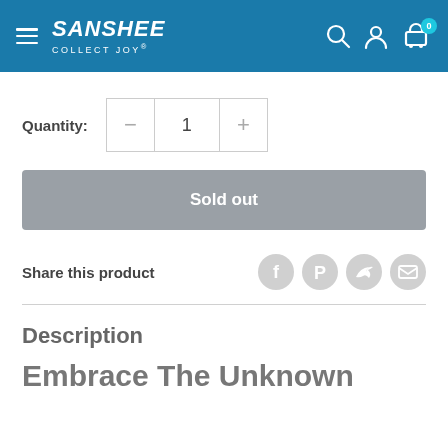SANSHEE COLLECT JOY
Quantity: 1
Sold out
Share this product
Description
Embrace The Unknown